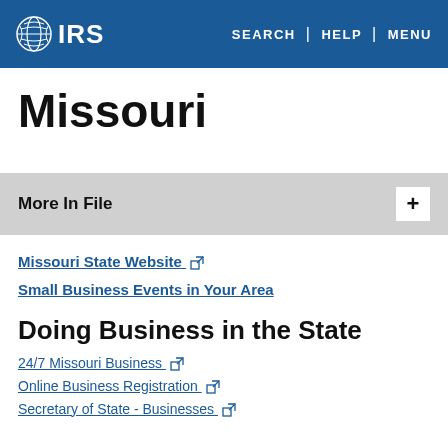IRS | SEARCH | HELP | MENU
Missouri
More In File
Missouri State Website
Small Business Events in Your Area
Doing Business in the State
24/7 Missouri Business
Online Business Registration
Secretary of State - Businesses